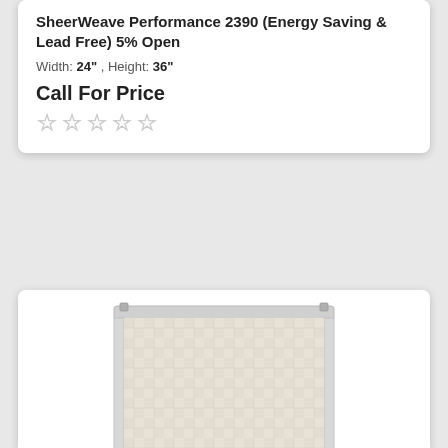SheerWeave Performance 2390 (Energy Saving & Lead Free) 5% Open
Width: 24" , Height: 36"
Call For Price
[Figure (illustration): Five empty star rating icons in a row]
[Figure (photo): Product image of a roller shade blind with cream/beige woven fabric texture, shown mounted with a white frame and hanging rail with two mounting brackets at the top corners]